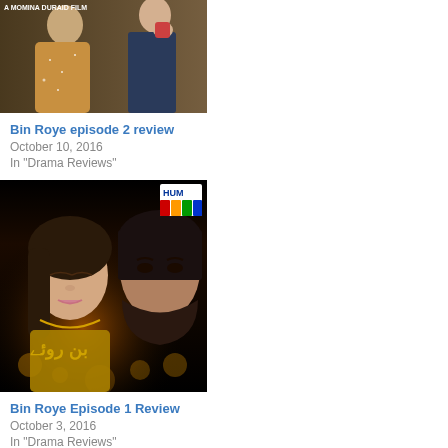[Figure (photo): A Momina Duraid Film - two women in ethnic wear, one in golden embroidered outfit]
Bin Roye episode 2 review
October 10, 2016
In "Drama Reviews"
[Figure (photo): Bin Roye drama promo image - woman with eyes closed and man with beard, HUM TV logo in top right, Urdu text overlay]
Bin Roye Episode 1 Review
October 3, 2016
In "Drama Reviews"